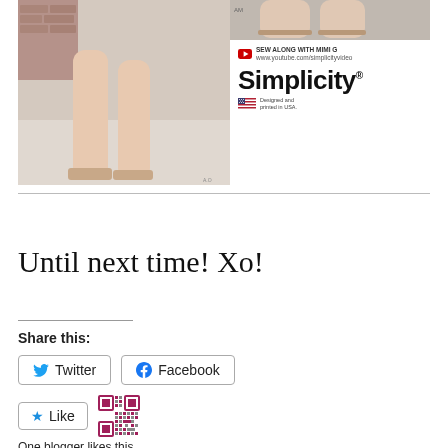[Figure (photo): Two fashion/sewing promotional images side by side. Left: legs wearing heeled sandals. Right top: close-up of legs/feet. Right bottom: Simplicity brand logo with 'Sew Along with Mimi G' YouTube promo and US flag 'Designed and printed in USA' text.]
Until next time! Xo!
Share this:
Twitter
Facebook
Like
One blogger likes this.
Advertisements